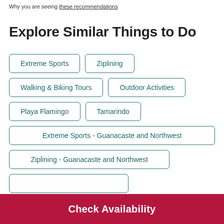Why you are seeing these recommendations
Explore Similar Things to Do
Extreme Sports
Ziplining
Walking & Biking Tours
Outdoor Activities
Playa Flamingo
Tamarindo
Extreme Sports - Guanacaste and Northwest
Ziplining - Guanacaste and Northwest
Check Availability